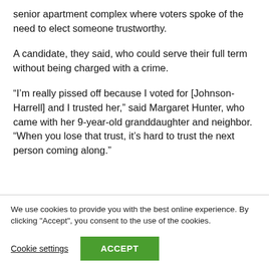senior apartment complex where voters spoke of the need to elect someone trustworthy.
A candidate, they said, who could serve their full term without being charged with a crime.
“I’m really pissed off because I voted for [Johnson-Harrell] and I trusted her,” said Margaret Hunter, who came with her 9-year-old granddaughter and neighbor. “When you lose that trust, it’s hard to trust the next person coming along.”
We use cookies to provide you with the best online experience. By clicking "Accept", you consent to the use of the cookies.
Cookie settings
ACCEPT